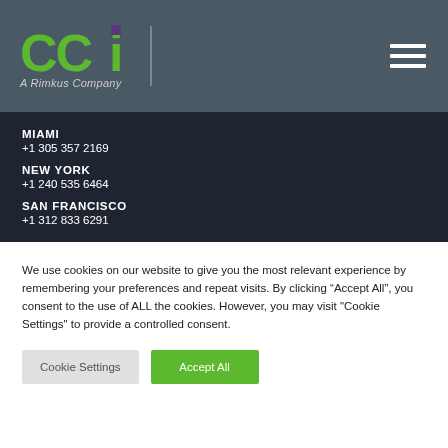CCi A Rimkus Company
MIAMI
+1 305 357 2169
NEW YORK
+1 240 535 6464
SAN FRANCISCO
+1 312 833 6291
We use cookies on our website to give you the most relevant experience by remembering your preferences and repeat visits. By clicking “Accept All”, you consent to the use of ALL the cookies. However, you may visit "Cookie Settings" to provide a controlled consent.
Cookie Settings | Accept All